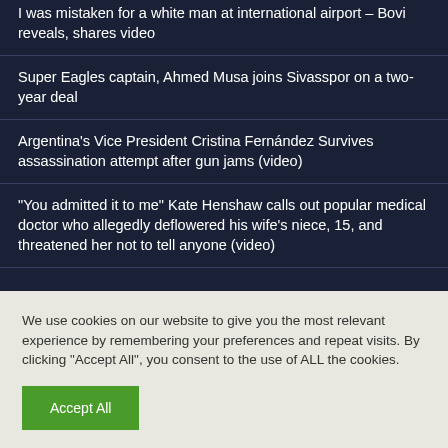I was mistaken for a white man at international airport – Bovi reveals, shares video
Super Eagles captain, Ahmed Musa joins Sivasspor on a two-year deal
Argentina's Vice President Cristina Fernández Survives assassination attempt after gun jams (video)
“You admitted it to me” Kate Henshaw calls out popular medical doctor who allegedly deflowered his wife’s niece, 15, and threatened her not to tell anyone (video)
We use cookies on our website to give you the most relevant experience by remembering your preferences and repeat visits. By clicking “Accept All”, you consent to the use of ALL the cookies.
Accept All